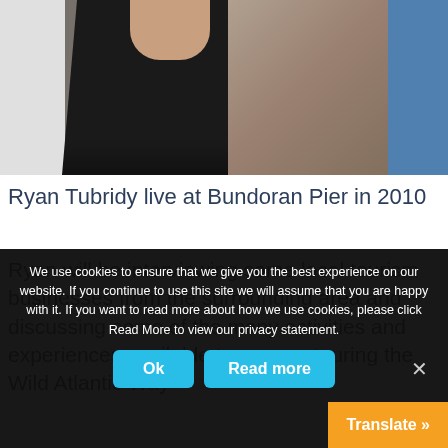[Figure (photo): Photo of Ryan Tubridy at Bundoran Pier in 2010, showing a person in a dark suit with a white shirt, standing against a weathered wall background]
Ryan Tubridy live at Bundoran Pier in 2010
Ryan will be interviewing some local tourism businesses from the surrounding area and discussing some of the many activities and experiences available to anyone touring the Wild Atlantic Way
We use cookies to ensure that we give you the best experience on our website. If you continue to use this site we will assume that you are happy with it. If you want to read more about how we use cookies, please click Read More to view our privacy statement.